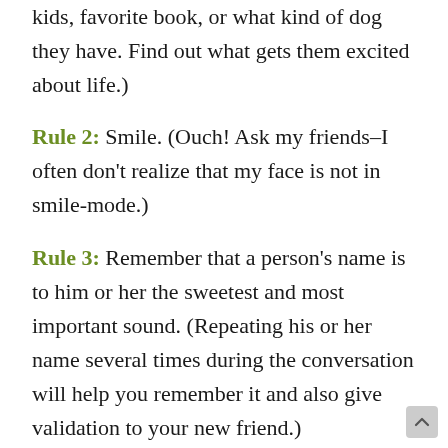kids, favorite book, or what kind of dog they have. Find out what gets them excited about life.)
Rule 2: Smile. (Ouch! Ask my friends–I often don't realize that my face is not in smile-mode.)
Rule 3: Remember that a person's name is to him or her the sweetest and most important sound. (Repeating his or her name several times during the conversation will help you remember it and also give validation to your new friend.)